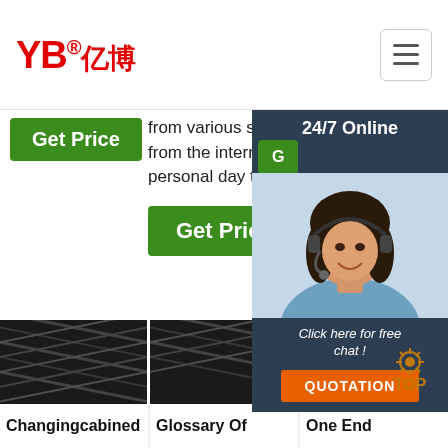[Figure (logo): YB亿博 logo in red with registered trademark symbol]
from various sources either from the internet or through personal day to day work …
sun…
24/7 Online
G
Get Price
Get Price
[Figure (photo): Customer service representative with headset smiling]
Click here for free chat !
QUOTATION
[Figure (photo): Black hydraulic hose close-up image 1]
[Figure (photo): Black hydraulic hose close-up image 2]
[Figure (photo): Black hydraulic hose close-up image 3]
TOP
Changingcabined
Glossary Of
One End